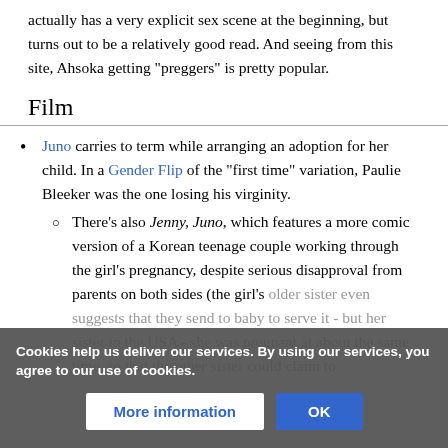actually has a very explicit sex scene at the beginning, but turns out to be a relatively good read. And seeing from this site, Ahsoka getting "preggers" is pretty popular.
Film
Juno carries to term while arranging an adoption for her child. In a Gender Flip of the "first time" variation, Paulie Bleeker was the one losing his virginity.
There's also Jenny, Juno, which features a more comic version of a Korean teenage couple working through the girl's pregnancy, despite serious disapproval from parents on both sides (the girl's older sister even suggests that they send to baby to serve it - but her sister in the USA - she was pregnant at about the same time, so that the other sister could claim to
Cookies help us deliver our services. By using our services, you agree to our use of cookies.